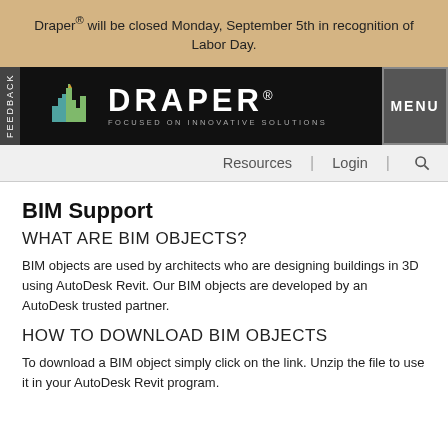Draper® will be closed Monday, September 5th in recognition of Labor Day.
[Figure (logo): Draper logo with cityscape icon and tagline FOCUSED ON INNOVATIVE SOLUTIONS on black background with MENU button]
Resources | Login | Search
BIM Support
WHAT ARE BIM OBJECTS?
BIM objects are used by architects who are designing buildings in 3D using AutoDesk Revit. Our BIM objects are developed by an AutoDesk trusted partner.
HOW TO DOWNLOAD BIM OBJECTS
To download a BIM object simply click on the link. Unzip the file to use it in your AutoDesk Revit program.